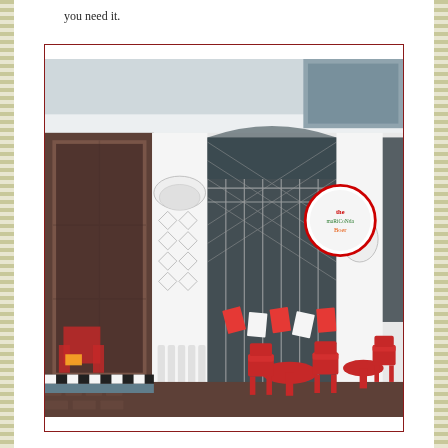you need it.
[Figure (photo): Exterior facade of a cafe or restaurant with white ornate plasterwork, diamond lattice pattern columns, large windows with diamond-pane grilles, a round hanging sign, and bright red metal chairs and tables on the pavement outside. The shop front has a wooden door on the left and interior visible through the windows.]